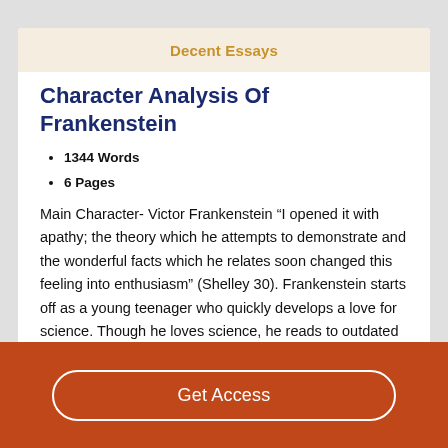Decent Essays
Character Analysis Of Frankenstein
1344 Words
6 Pages
Main Character- Victor Frankenstein “I opened it with apathy; the theory which he attempts to demonstrate and the wonderful facts which he relates soon changed this feeling into enthusiasm” (Shelley 30). Frankenstein starts off as a young teenager who quickly develops a love for science. Though he loves science, he reads to outdated and usual
Get Access